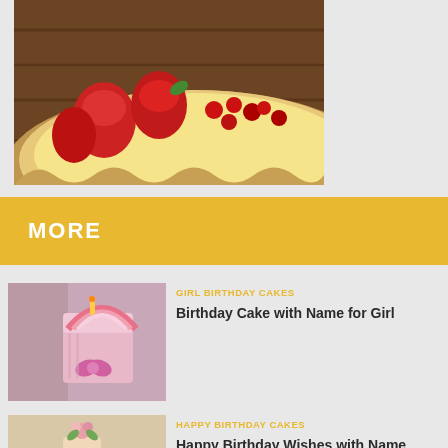[Figure (photo): Top portion of a fruit tart with strawberries and red currants on a wooden surface, partially visible at the top of the page]
MORE
[Figure (photo): Pink birthday cake with rainbow arch decoration, bow, and candles]
GIRL BIRTHDAY CAKES
Birthday Cake with Name for Girl
[Figure (photo): Tiered birthday cake with floral decorations and love lettering]
HAPPY BIRTHDAY CAKES
Happy Birthday Wishes with Name Edit Free